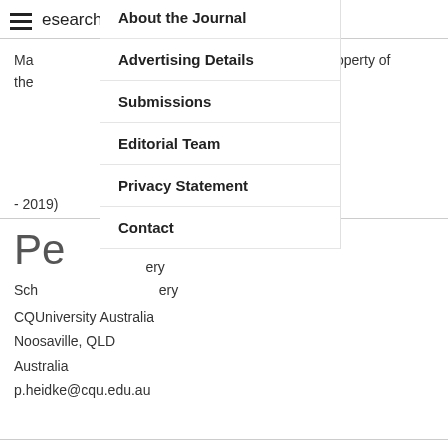esearch Papers
About the Journal
Ma lication become the property of the
Advertising Details
Submissions
- 2019)
Editorial Team
Privacy Statement
Contact
Pe
Sch ery
CQUniversity Australia
Noosaville, QLD
Australia
p.heidke@cqu.edu.au